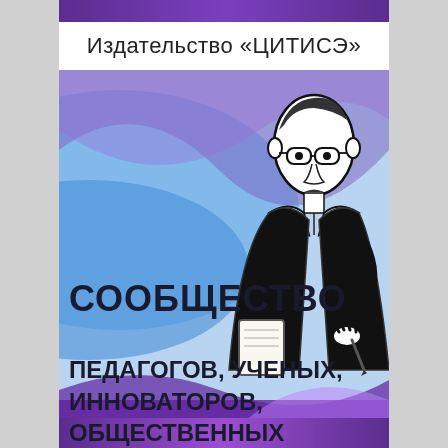Издательство «ЦИТИСЭ»
[Figure (illustration): Stylized black-and-white illustration of a man in a suit holding a pen or pencil, overlaid on a blue wave/gradient background. Text below reads СООБЩЕСТВО and ПЕДАГОГОВ, УЧЕНЫХ, ИННОВАТОРОВ, ОБЩЕСТВЕННЫХ]
СООБЩЕСТВО
ПЕДАГОГОВ, УЧЕНЫХ, ИННОВАТОРОВ, ОБЩЕСТВЕННЫХ